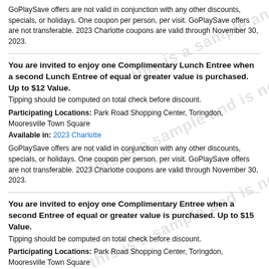GoPlaySave offers are not valid in conjunction with any other discounts, specials, or holidays. One coupon per person, per visit. GoPlaySave offers are not transferable. 2023 Charlotte coupons are valid through November 30, 2023.
You are invited to enjoy one Complimentary Lunch Entree when a second Lunch Entree of equal or greater value is purchased. Up to $12 Value.
Tipping should be computed on total check before discount.
Participating Locations: Park Road Shopping Center, Toringdon, Mooresville Town Square
Available in: 2023 Charlotte
GoPlaySave offers are not valid in conjunction with any other discounts, specials, or holidays. One coupon per person, per visit. GoPlaySave offers are not transferable. 2023 Charlotte coupons are valid through November 30, 2023.
You are invited to enjoy one Complimentary Entree when a second Entree of equal or greater value is purchased. Up to $15 Value.
Tipping should be computed on total check before discount.
Participating Locations: Park Road Shopping Center, Toringdon, Mooresville Town Square
Available in: 2022 Charlotte